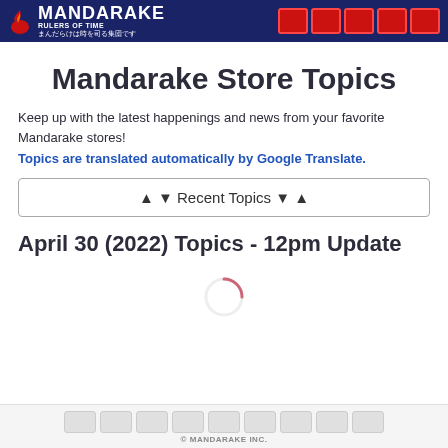MANDARAKE RULERS OF TIME まんだらけは時を司る集団です
Mandarake Store Topics
Keep up with the latest happenings and news from your favorite Mandarake stores!
Topics are translated automatically by Google Translate.
▲ ▼ Recent Topics ▼ ▲
April 30 (2022) Topics - 12pm Update
[Figure (other): Loading spinner animation (partial arc in red/pink)]
© MANDARAKE INC.